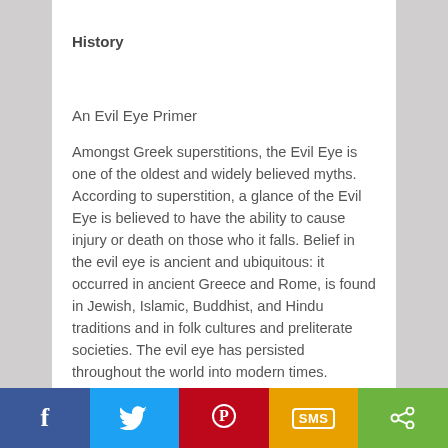History
An Evil Eye Primer
Amongst Greek superstitions, the Evil Eye is one of the oldest and widely believed myths. According to superstition, a glance of the Evil Eye is believed to have the ability to cause injury or death on those who it falls. Belief in the evil eye is ancient and ubiquitous: it occurred in ancient Greece and Rome, is found in Jewish, Islamic, Buddhist, and Hindu traditions and in folk cultures and preliterate societies. The evil eye has persisted throughout the world into modern times.
In Greek history, Evil Eye charms can be traced to Ancient Greece. Paintings found on Greek triremes over two thousand years old, feature an Eye painted at the front of the trireme in an attempt to ward off the Evil Eye and protect the trireme while at sea. In Jewish culture, the evil
f  Twitter  Pinterest  SMS  Share